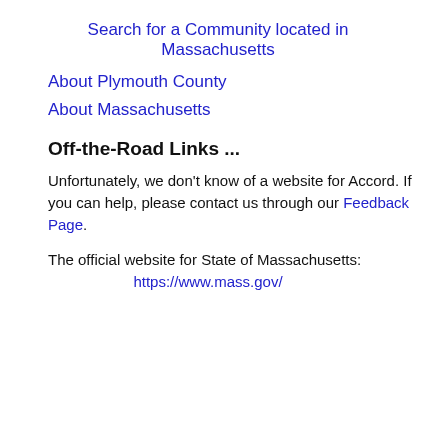Search for a Community located in Massachusetts
About Plymouth County
About Massachusetts
Off-the-Road Links ...
Unfortunately, we don't know of a website for Accord. If you can help, please contact us through our Feedback Page.
The official website for State of Massachusetts: https://www.mass.gov/